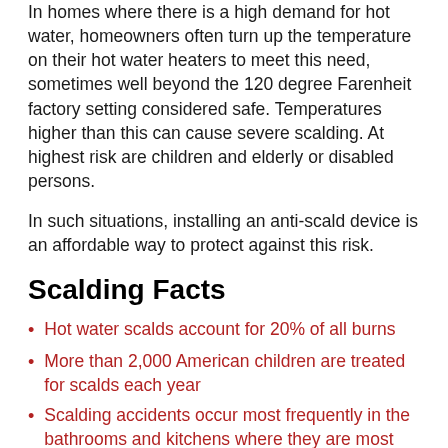In homes where there is a high demand for hot water, homeowners often turn up the temperature on their hot water heaters to meet this need, sometimes well beyond the 120 degree Farenheit factory setting considered safe. Temperatures higher than this can cause severe scalding. At highest risk are children and elderly or disabled persons.
In such situations, installing an anti-scald device is an affordable way to protect against this risk.
Scalding Facts
Hot water scalds account for 20% of all burns
More than 2,000 American children are treated for scalds each year
Scalding accidents occur most frequently in the bathrooms and kitchens where they are most preventable
Scalding leads to additional injuries such as heart